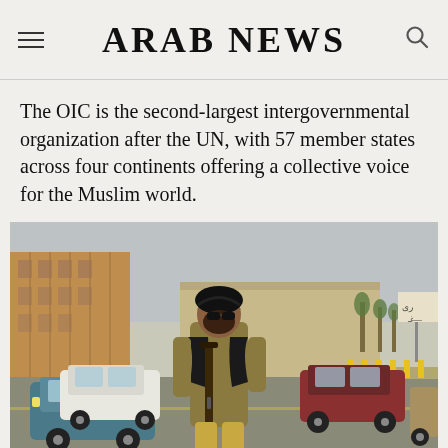ARAB NEWS
The OIC is the second-largest intergovernmental organization after the UN, with 57 member states across four continents offering a collective voice for the Muslim world.
[Figure (photo): A Taliban fighter armed with a rifle stands in the middle of a street in Kabul, Afghanistan. Several cars are visible on both sides. Buildings are visible in the background including what appears to be a large walled compound. A road sign in Arabic script is visible on the right.]